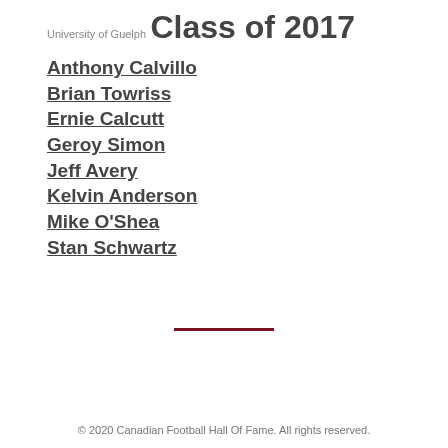University of Guelph
Class of 2017
Anthony Calvillo
Brian Towriss
Ernie Calcutt
Geroy Simon
Jeff Avery
Kelvin Anderson
Mike O'Shea
Stan Schwartz
© 2020 Canadian Football Hall Of Fame. All rights reserved.